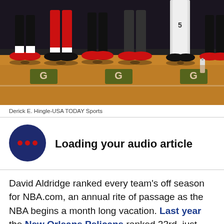[Figure (photo): NBA players' feet and shoes on the sideline bench area, showing red sneakers and Gatorade branding on the court floor]
Derick E. Hingle-USA TODAY Sports
[Figure (infographic): Audio article loading indicator: dark navy circle with three red dots, indicating audio playback loading]
Loading your audio article
David Aldridge ranked every team's off season for NBA.com, an annual rite of passage as the NBA begins a month long vacation. Last year the New Orleans Pelicans ranked 23rd, just behind the eventual champion Golden State Warriors. Thus proving the value of "winning" the off season.